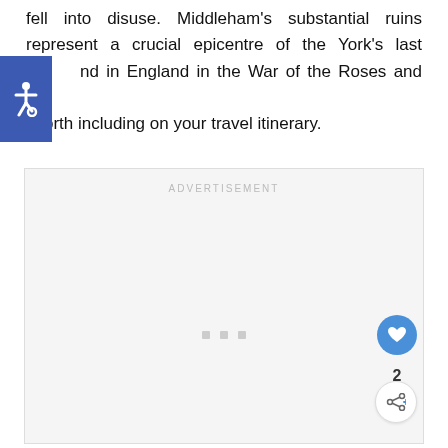fell into disuse. Middleham's substantial ruins represent a crucial epicentre of the York's last nd in England in the War of the Roses and are -worth including on your travel itinerary.
[Figure (other): Accessibility icon — white wheelchair symbol on blue square background]
[Figure (other): Advertisement placeholder box with label ADVERTISEMENT, three grey dots at bottom, a blue heart/like button showing count 2, and a share button]